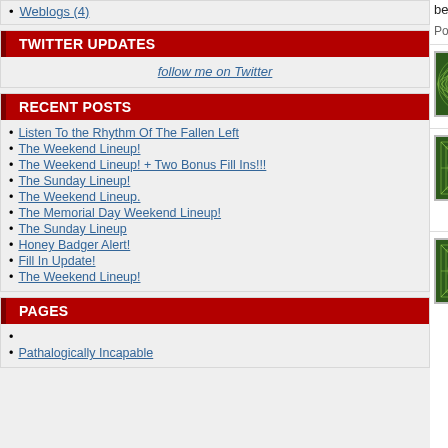Weblogs (4)
TWITTER UPDATES
follow me on Twitter
RECENT POSTS
Listen To the Rhythm Of The Fallen Left
The Weekend Lineup!
The Weekend Lineup! + Two Bonus Fill Ins!!!
The Sunday Lineup!
The Weekend Lineup.
The Memorial Day Weekend Lineup!
The Sunday Lineup
Honey Badger Alert!
Fill In Update!
The Weekend Lineup!
PAGES
Pathalogically Incapable
begin our decent into being Greece... hope of turning.
Posted by: Cookers | September 08, 2...
[Figure (illustration): Green spiral/circular pattern avatar]
Hey you guys!!!!!!!!!!!!!!!
When did you start coming back he...
I miss the good old days.
Posted by: Maddypie | October 12, 20...
[Figure (illustration): Green geometric star/grid pattern avatar]
Cookers,
Good to see, hear your views as a... you think that Greece comparison... exaggerated?
Posted by: BlackinMiami | November 0...
[Figure (illustration): Green geometric star/grid pattern avatar]
wow good to see you all -- miss ou... conversations ... how are you all d...
Posted by: LeGioNoFZioN | November 2...